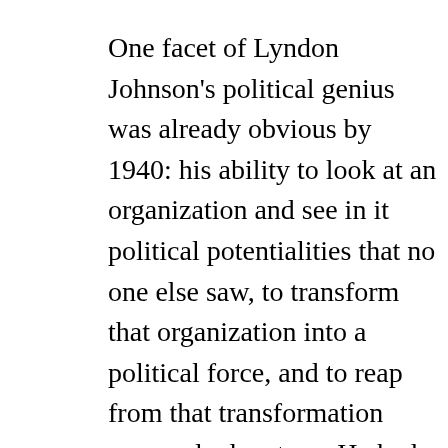One facet of Lyndon Johnson's political genius was already obvious by 1940: his ability to look at an organization and see in it political potentialities that no one else saw, to transform that organization into a political force, and to reap from that transformation personal advantage. He had done this twice before, transforming a social club (the White Stars) and a debating society (the Little Congress) into political forces that he used to further his own ends. Now he was to do it again.
A HALLMARK OF JOHNSON'S CAREER had been a lack of any consistent ideology or principle, in fact of any moral foundation whatsoever — a willingness to march with